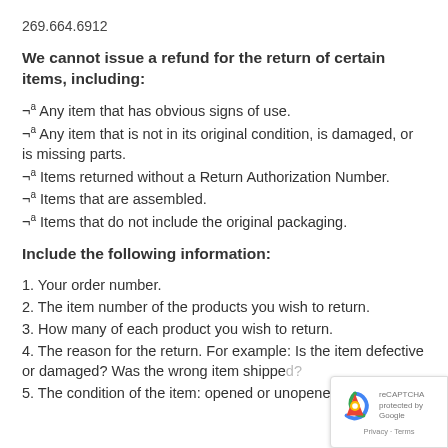269.664.6912
We cannot issue a refund for the return of certain items, including:
¬ᵃ Any item that has obvious signs of use.
¬ᵃ Any item that is not in its original condition, is damaged, or is missing parts.
¬ᵃ Items returned without a Return Authorization Number.
¬ᵃ Items that are assembled.
¬ᵃ Items that do not include the original packaging.
Include the following information:
1. Your order number.
2. The item number of the products you wish to return.
3. How many of each product you wish to return.
4. The reason for the return. For example: Is the item defective or damaged? Was the wrong item shipped?
5. The condition of the item: opened or unopened.